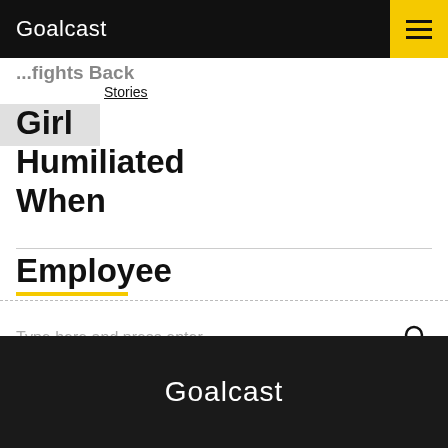Goalcast
Stories
Girl Humiliated When Employee
Type here and press enter
Publicly –
Angry Dad Fights Back
Goalcast